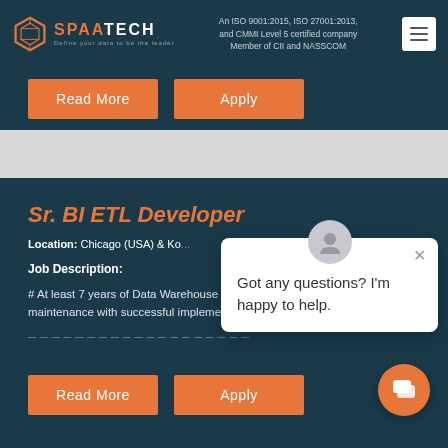SPAATECH — An ISO 9001:2015, ISO 27001:2013, and CMMI Level 5 certified company. Member of CII and NASSCOM.
Read More | Apply
Sr. BI ETL Developer
Location: Chicago (USA) & Ko...
Job Description:
# At least 7 years of Data Warehouse ETL design, development and maintenance with successful implementation of large Enterprise BI solutions
Got any questions? I'm happy to help.
Read More | Apply